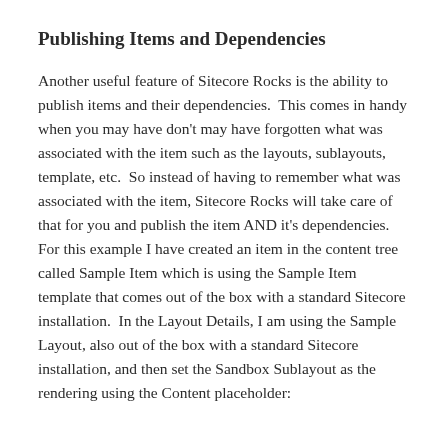Publishing Items and Dependencies
Another useful feature of Sitecore Rocks is the ability to publish items and their dependencies.  This comes in handy when you may have don't may have forgotten what was associated with the item such as the layouts, sublayouts, template, etc.  So instead of having to remember what was associated with the item, Sitecore Rocks will take care of that for you and publish the item AND it's dependencies.  For this example I have created an item in the content tree called Sample Item which is using the Sample Item template that comes out of the box with a standard Sitecore installation.  In the Layout Details, I am using the Sample Layout, also out of the box with a standard Sitecore installation, and then set the Sandbox Sublayout as the rendering using the Content placeholder: